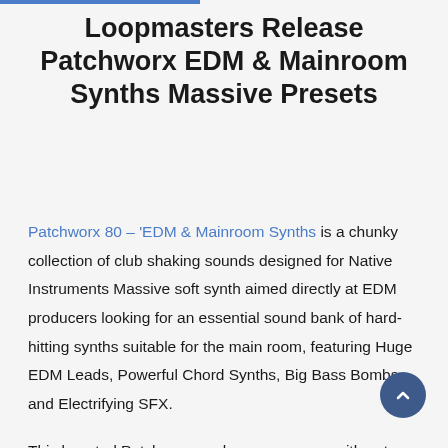Loopmasters Release Patchworx EDM & Mainroom Synths Massive Presets
Patchworx 80 – 'EDM & Mainroom Synths is a chunky collection of club shaking sounds designed for Native Instruments Massive soft synth aimed directly at EDM producers looking for an essential sound bank of hard-hitting synths suitable for the main room, featuring Huge EDM Leads, Powerful Chord Synths, Big Bass Bombs and Electrifying SFX.
This boosted Patchworx pack comes comp with not only 64 custom presets & 64 MIDI files